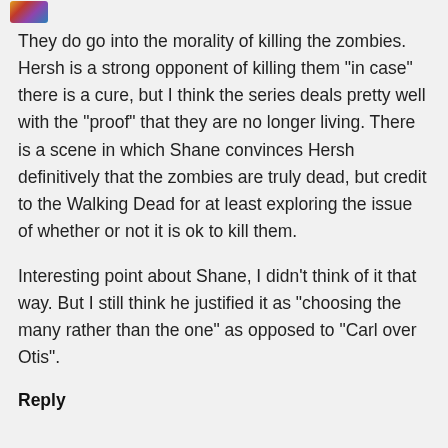[Figure (photo): Small colorful avatar/profile image thumbnail in top left corner]
They do go into the morality of killing the zombies. Hersh is a strong opponent of killing them "in case" there is a cure, but I think the series deals pretty well with the "proof" that they are no longer living. There is a scene in which Shane convinces Hersh definitively that the zombies are truly dead, but credit to the Walking Dead for at least exploring the issue of whether or not it is ok to kill them.
Interesting point about Shane, I didn't think of it that way. But I still think he justified it as "choosing the many rather than the one" as opposed to "Carl over Otis".
Reply